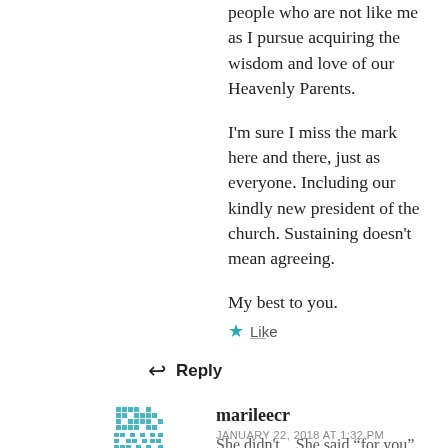people who are not like me as I pursue acquiring the wisdom and love of our Heavenly Parents.
I'm sure I miss the mark here and there, just as everyone. Including our kindly new president of the church. Sustaining doesn't mean agreeing.
My best to you.
★ Like
↩ Reply
marileecr
JANUARY 22, 2018 AT 1:32 PM
She didn't... She said "for you"